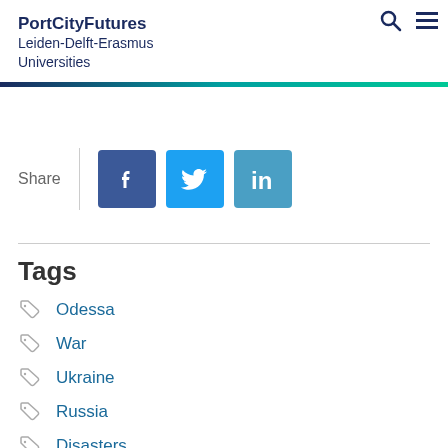PortCityFutures Leiden-Delft-Erasmus Universities
[Figure (infographic): Share section with Facebook, Twitter, and LinkedIn social media icons]
Tags
Odessa
War
Ukraine
Russia
Disasters
Crisis